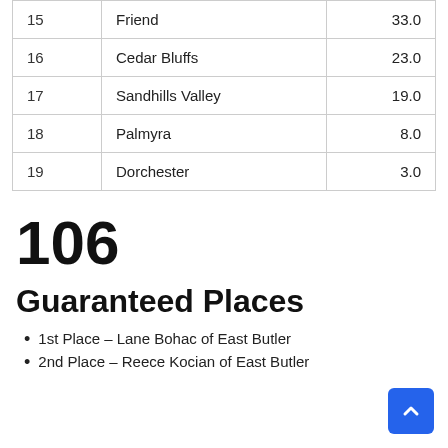| # | Name | Score |
| --- | --- | --- |
| 15 | Friend | 33.0 |
| 16 | Cedar Bluffs | 23.0 |
| 17 | Sandhills Valley | 19.0 |
| 18 | Palmyra | 8.0 |
| 19 | Dorchester | 3.0 |
106
Guaranteed Places
1st Place – Lane Bohac of East Butler
2nd Place – Reece Kocian of East Butler